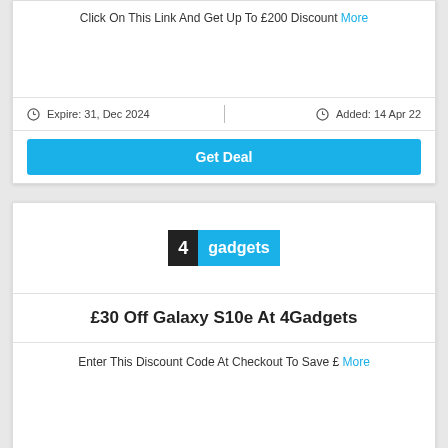Click On This Link And Get Up To £200 Discount More
Expire: 31, Dec 2024   Added: 14 Apr 22
Get Deal
[Figure (logo): 4gadgets logo — black square with number 4 and blue rectangle with text gadgets]
£30 Off Galaxy S10e At 4Gadgets
Enter This Discount Code At Checkout To Save £ More